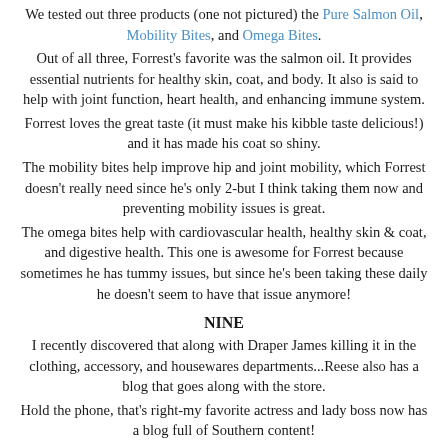We tested out three products (one not pictured) the Pure Salmon Oil, Mobility Bites, and Omega Bites.
Out of all three, Forrest's favorite was the salmon oil. It provides essential nutrients for healthy skin, coat, and body. It also is said to help with joint function, heart health, and enhancing immune system.
Forrest loves the great taste (it must make his kibble taste delicious!) and it has made his coat so shiny.
The mobility bites help improve hip and joint mobility, which Forrest doesn't really need since he's only 2-but I think taking them now and preventing mobility issues is great.
The omega bites help with cardiovascular health, healthy skin & coat, and digestive health. This one is awesome for Forrest because sometimes he has tummy issues, but since he's been taking these daily he doesn't seem to have that issue anymore!
NINE
I recently discovered that along with Draper James killing it in the clothing, accessory, and housewares departments...Reese also has a blog that goes along with the store.
Hold the phone, that's right-my favorite actress and lady boss now has a blog full of Southern content!